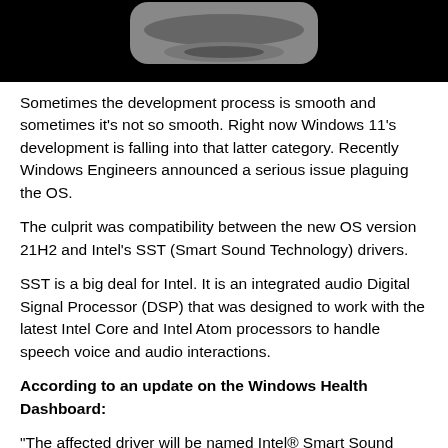[Figure (photo): Top portion of a device (likely a smart speaker or similar hardware) shown against a black background, with gray elliptical shapes visible.]
Sometimes the development process is smooth and sometimes it's not so smooth. Right now Windows 11's development is falling into that latter category. Recently Windows Engineers announced a serious issue plaguing the OS.
The culprit was compatibility between the new OS version 21H2 and Intel's SST (Smart Sound Technology) drivers.
SST is a big deal for Intel. It is an integrated audio Digital Signal Processor (DSP) that was designed to work with the latest Intel Core and Intel Atom processors to handle speech voice and audio interactions.
According to an update on the Windows Health Dashboard:
"The affected driver will be named Intel® Smart Sound